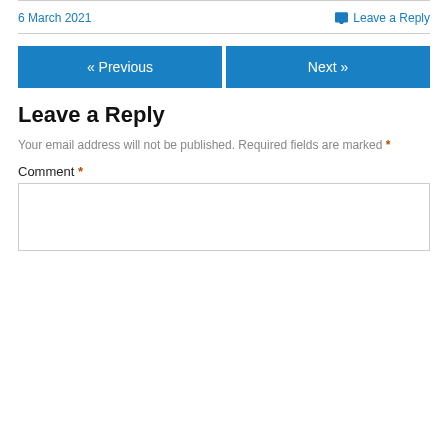6 March 2021
Leave a Reply
« Previous
Next »
Leave a Reply
Your email address will not be published. Required fields are marked *
Comment *